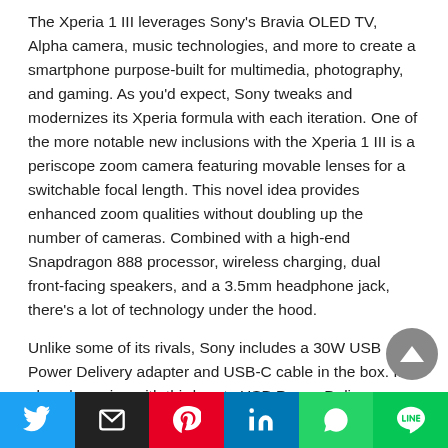The Xperia 1 III leverages Sony's Bravia OLED TV, Alpha camera, music technologies, and more to create a smartphone purpose-built for multimedia, photography, and gaming. As you'd expect, Sony tweaks and modernizes its Xperia formula with each iteration. One of the more notable new inclusions with the Xperia 1 III is a periscope zoom camera featuring movable lenses for a switchable focal length. This novel idea provides enhanced zoom qualities without doubling up the number of cameras. Combined with a high-end Snapdragon 888 processor, wireless charging, dual front-facing speakers, and a 3.5mm headphone jack, there's a lot of technology under the hood.
Unlike some of its rivals, Sony includes a 30W USB Power Delivery adapter and USB-C cable in the box. It also plays nice with third-party USB Power Delivery accessories. The